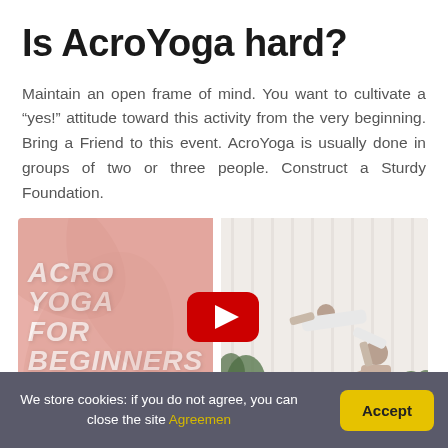Is AcroYoga hard?
Maintain an open frame of mind. You want to cultivate a “yes!” attitude toward this activity from the very beginning. Bring a Friend to this event. AcroYoga is usually done in groups of two or three people. Construct a Sturdy Foundation.
[Figure (screenshot): Embedded video thumbnail showing two panels: left panel is a pink/salmon background with bold italic white text reading 'ACRO YOGA FOR BEGINNERS', right panel shows a woman in white athletic wear performing an AcroYoga pose with plants in the background. A YouTube play button overlay is centered across both panels.]
We store cookies: if you do not agree, you can close the site Agreemen  Accept